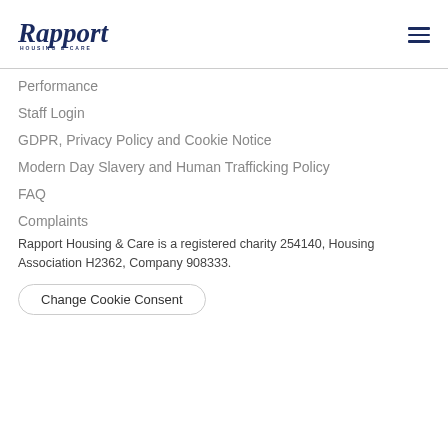[Figure (logo): Rapport Housing & Care logo with stylized text and tagline]
Performance
Staff Login
GDPR, Privacy Policy and Cookie Notice
Modern Day Slavery and Human Trafficking Policy
FAQ
Complaints
Rapport Housing & Care is a registered charity 254140, Housing Association H2362, Company 908333.
Change Cookie Consent